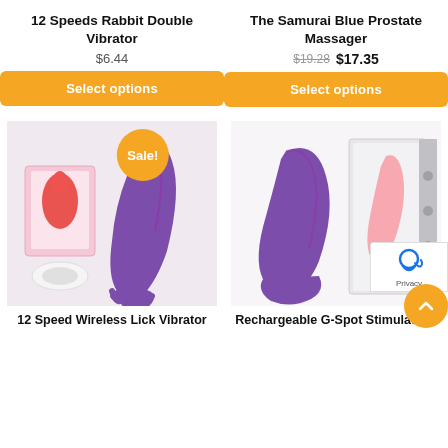12 Speeds Rabbit Double Vibrator
$6.44
Select options
The Samurai Blue Prostate Massager
$19.28  $17.35
Select options
[Figure (photo): 12 Speed Wireless Lick Vibrator product image with sale badge]
12 Speed Wireless Lick Vibrator
[Figure (photo): Rechargeable G-Spot Stimulation product image]
Rechargeable G-Spot Stimulatio...